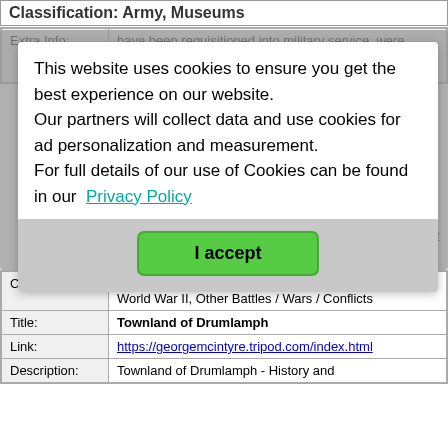Classification: Army, Museums
| Extra Info: |
| --- |
| have been requisitioned into military service, were disguised as HM ships or those in foreign service and sunk by HM ships. |
This website uses cookies to ensure you get the best experience on our website.
Our partners will collect data and use cookies for ad personalization and measurement.
For full details of our use of Cookies can be found in our Privacy Policy
I accept
| Classification: | Title: | Link: | Description: |
| --- | --- | --- | --- |
| Graves / Memorials / Roll of Honour, World War I, World War II, Other Battles / Wars / Conflicts | Townland of Drumlamph | https://georgemcintyre.tripod.com/index.html | Townland of Drumlamph - History and |